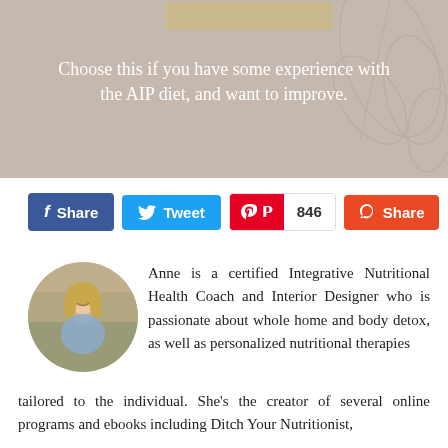[Figure (photo): Beige/taupe banner image with decorative leaf outline on right side. Contains centered white text about choosing the AIP diet option.]
Choose this if you have some experience with the AIP diet, and want to improve.
[Figure (infographic): Social share buttons row: Facebook Share (blue), Tweet (light blue), Pinterest 846 count, StumbleUpon Share (orange-red)]
[Figure (photo): Circular portrait photo of Anne, a blonde woman smiling, with greenery in background.]
Anne is a certified Integrative Nutritional Health Coach and Interior Designer who is passionate about whole home and body detox, as well as personalized nutritional therapies tailored to the individual. She's the creator of several online programs and ebooks including Ditch Your Nutritionist,